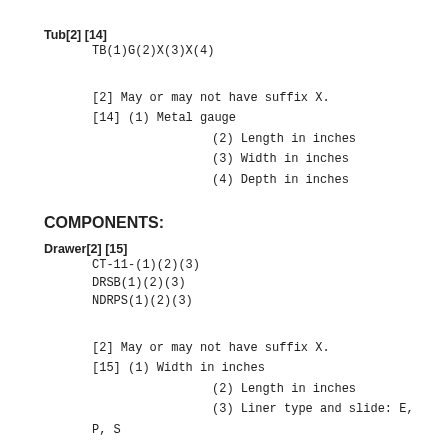Tub[2] [14]
TB(1)G(2)X(3)X(4)
[2] May or may not have suffix X.
[14] (1) Metal gauge
     (2) Length in inches
     (3) Width in inches
     (4) Depth in inches
COMPONENTS:
Drawer[2] [15]
CT-11-(1)(2)(3)
DRSB(1)(2)(3)
NDRPS(1)(2)(3)
[2] May or may not have suffix X.
[15] (1) Width in inches
      (2) Length in inches
      (3) Liner type and slide: E, P, S